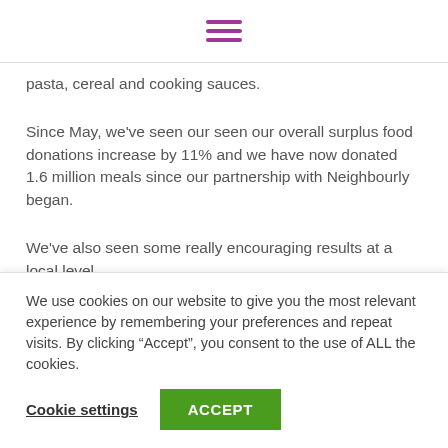[hamburger menu icon]
pasta, cereal and cooking sauces.
Since May, we've seen our seen our overall surplus food donations increase by 11% and we have now donated 1.6 million meals since our partnership with Neighbourly began.
We've also seen some really encouraging results at a local level.
[partially visible clipped text]
We use cookies on our website to give you the most relevant experience by remembering your preferences and repeat visits. By clicking “Accept”, you consent to the use of ALL the cookies.
Cookie settings
ACCEPT